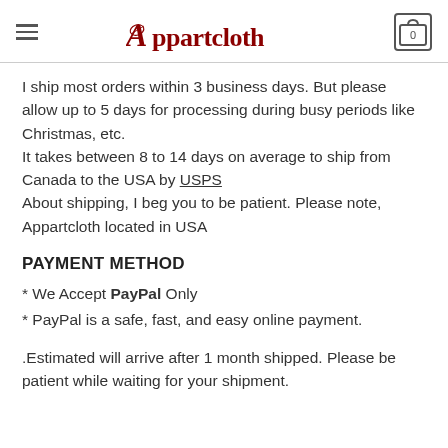Appartcloth
I ship most orders within 3 business days. But please allow up to 5 days for processing during busy periods like Christmas, etc.
It takes between 8 to 14 days on average to ship from Canada to the USA by USPS
About shipping, I beg you to be patient. Please note, Appartcloth located in USA
PAYMENT METHOD
* We Accept PayPal Only
* PayPal is a safe, fast, and easy online payment.
.Estimated will arrive after 1 month shipped. Please be patient while waiting for your shipment.